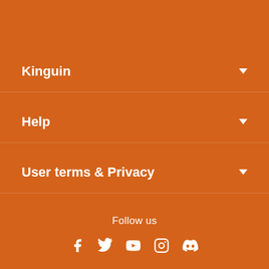Kinguin
Help
User terms & Privacy
Follow us